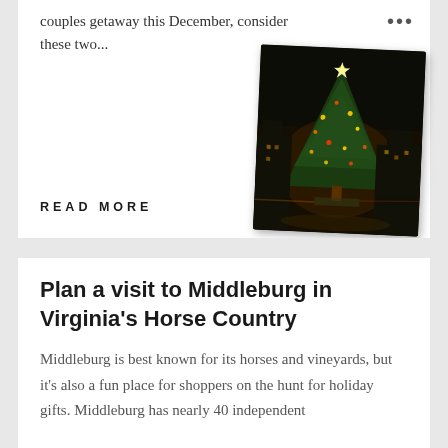couples getaway this December, consider these two...
[Figure (photo): Night-time photo of a lit Christmas tree in a town square]
READ MORE
Plan a visit to Middleburg in Virginia's Horse Country
Middleburg is best known for its horses and vineyards, but it's also a fun place for shoppers on the hunt for holiday gifts. Middleburg has nearly 40 independent